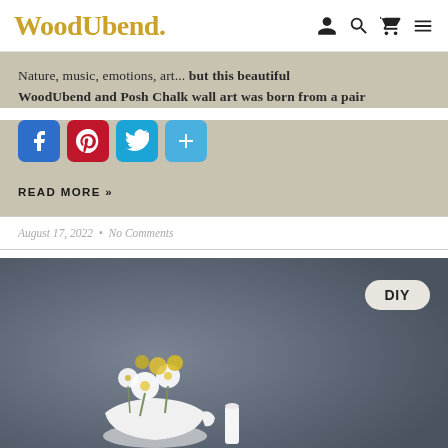WoodUbend.
Nature, music, emotions, art... but this beautiful WoodUbend and Posh Chalk wall art was born from a pair
[Figure (other): Social share buttons: Facebook (blue), Pinterest (red), Twitter (light blue), Add/Share (light blue)]
READ MORE »
August 17, 2022  •  No Comments
[Figure (photo): DIY badge in upper right corner over dark grey background with white floral arrangement featuring yellow flowers at bottom]
DIY